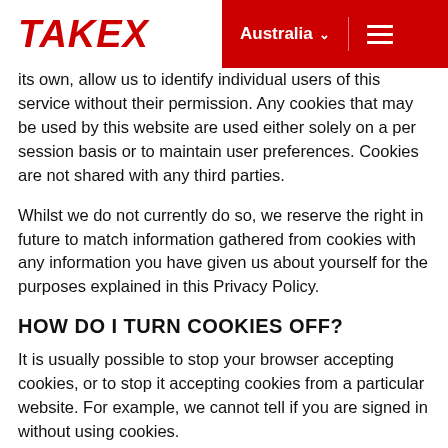TAKEX | Australia
its own, allow us to identify individual users of this service without their permission. Any cookies that may be used by this website are used either solely on a per session basis or to maintain user preferences. Cookies are not shared with any third parties.
Whilst we do not currently do so, we reserve the right in future to match information gathered from cookies with any information you have given us about yourself for the purposes explained in this Privacy Policy.
HOW DO I TURN COOKIES OFF?
It is usually possible to stop your browser accepting cookies, or to stop it accepting cookies from a particular website. For example, we cannot tell if you are signed in without using cookies.